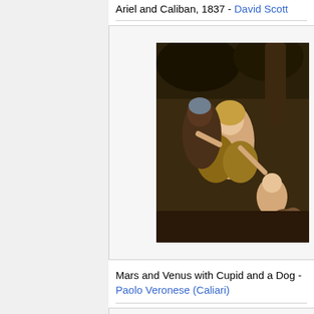Ariel and Caliban, 1837 - David Scott
[Figure (photo): Painting showing Mars and Venus with Cupid and a Dog by Paolo Veronese (Caliari) - depicts reclining female figure with male figure and a child]
Mars and Venus with Cupid and a Dog - Paolo Veronese (Caliari)
[Figure (photo): Dark painting showing figures with a candle or light source, dark background with three faces visible]